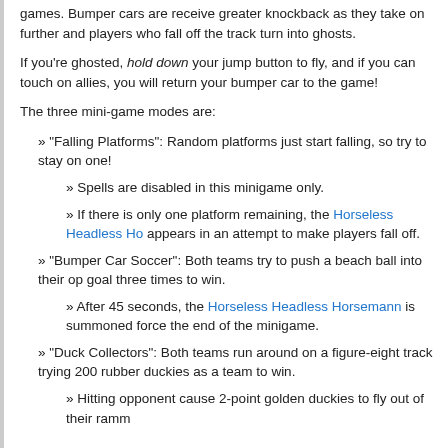games. Bumper cars are receive greater knockback as they take on further and players who fall off the track turn into ghosts.
If you're ghosted, hold down your jump button to fly, and if you can touch on allies, you will return your bumper car to the game!
The three mini-game modes are:
"Falling Platforms": Random platforms just start falling, so try to stay on one!
Spells are disabled in this minigame only.
If there is only one platform remaining, the Horseless Headless Ho appears in an attempt to make players fall off.
"Bumper Car Soccer": Both teams try to push a beach ball into their op goal three times to win.
After 45 seconds, the Horseless Headless Horsemann is summoned force the end of the minigame.
"Duck Collectors": Both teams run around on a figure-eight track trying 200 rubber duckies as a team to win.
Hitting opponent cause 2-point golden duckies to fly out of their ramm